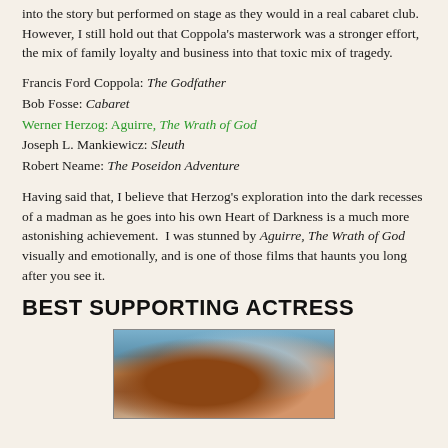into the story but performed on stage as they would in a real cabaret club.  However, I still hold out that Coppola's masterwork was a stronger effort, the mix of family loyalty and business into that toxic mix of tragedy.
Francis Ford Coppola: The Godfather
Bob Fosse: Cabaret
Werner Herzog: Aguirre, The Wrath of God
Joseph L. Mankiewicz: Sleuth
Robert Neame: The Poseidon Adventure
Having said that, I believe that Herzog's exploration into the dark recesses of a madman as he goes into his own Heart of Darkness is a much more astonishing achievement.  I was stunned by Aguirre, The Wrath of God visually and emotionally, and is one of those films that haunts you long after you see it.
BEST SUPPORTING ACTRESS
[Figure (photo): A photograph showing a person, partially visible, with reddish-brown hair, against a light blue background with decorative elements visible.]